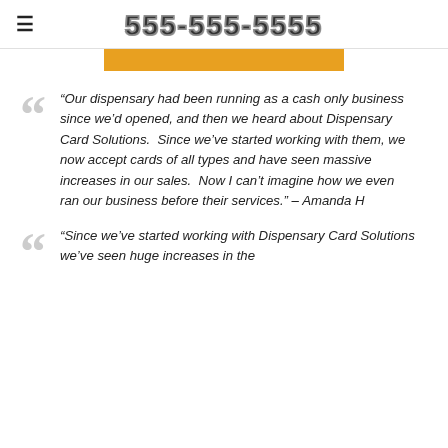≡   555-555-5555
[Figure (other): Orange/gold horizontal bar below the phone number header]
“Our dispensary had been running as a cash only business since we’d opened, and then we heard about Dispensary Card Solutions.  Since we’ve started working with them, we now accept cards of all types and have seen massive increases in our sales.  Now I can’t imagine how we even ran our business before their services.” – Amanda H
“Since we’ve started working with Dispensary Card Solutions we’ve seen huge increases in the